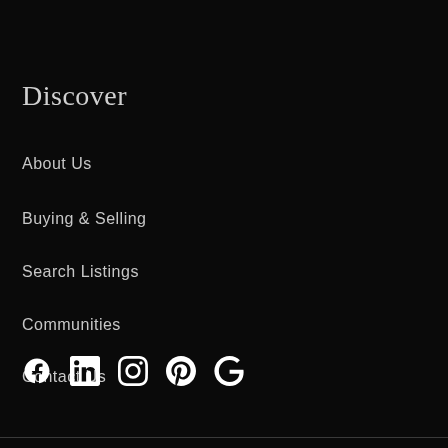Discover
About Us
Buying & Selling
Search Listings
Communities
Contact Us
[Figure (infographic): Social media icons: Facebook, LinkedIn, Instagram, Pinterest, Google]